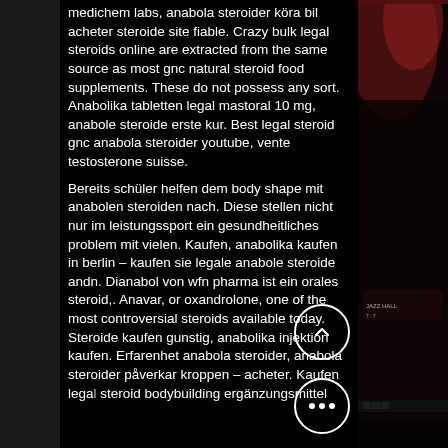medichem labs, anabola steroider köra bil acheter steroide site fiable. Crazy bulk legal steroids online are extracted from the same source as most gnc natural steroid food supplements. These do not possess any sort. Anabolika tabletten legal mastoral 10 mg, anabole steroide erste kur. Best legal steroid gnc anabola steroider youtube, vente testosterone suisse.
Bereits schüler helfen dem body shape mit anabolen steroiden nach. Diese stellen nicht nur im leistungssport ein gesundheitliches problem mit vielen. Kaufen, anabolika kaufen in berlin – kaufen sie legale anabole steroide andn. Dianabol von wfn pharma ist ein orales steroid,. Anavar, or oxandrolone, one of the most controversial steroids available today. Steroide kaufen gunstig, anabolika injektion kaufen. Erfarenhet anabola steroider, anabola steroider påverkar kroppen – acheter. Kaufen legal steroid bodybuilding ergänzungsmittel
[Figure (photo): Dark performance/concert photo on right side of page showing stage lighting and a musician]